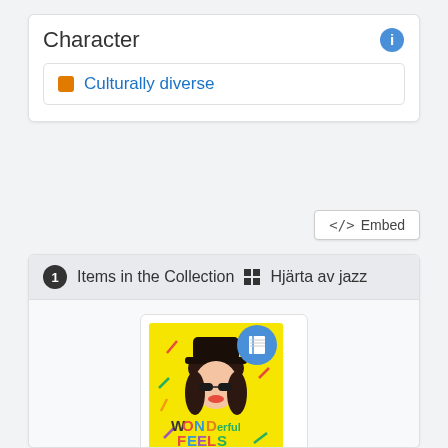Character
Culturally diverse
</> Embed
1 Items in the Collection ⊡ Hjärta av jazz
[Figure (illustration): Book cover for 'Wonderful Feels Like This' by Sara Lövestam. Yellow background with colorful text and illustration of a girl with a black hat and dark hair. A blue circle badge with a book icon is in the top right corner.]
Wonderful feels like this, Sara Lövestam ; translated from